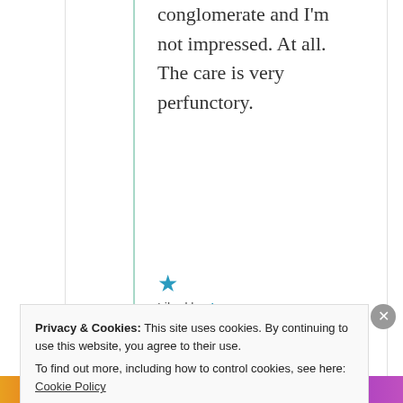conglomerate and I'm not impressed. At all. The care is very perfunctory.
★ Liked by 4 people
↪ Reply
Privacy & Cookies: This site uses cookies. By continuing to use this website, you agree to their use. To find out more, including how to control cookies, see here: Cookie Policy
Close and accept